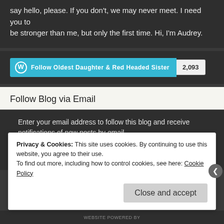be stronger than me, but only the first time. Hi, I'm Audrey.
[Figure (other): WordPress Follow button for 'Oldest Daughter & Red Headed Sister' with follower count 2,093]
Follow Blog via Email
Enter your email address to follow this blog and receive notifications of new posts by email.
Enter your email address
Privacy & Cookies: This site uses cookies. By continuing to use this website, you agree to their use.
To find out more, including how to control cookies, see here: Cookie Policy
Close and accept
WEBSITE POWERED BY